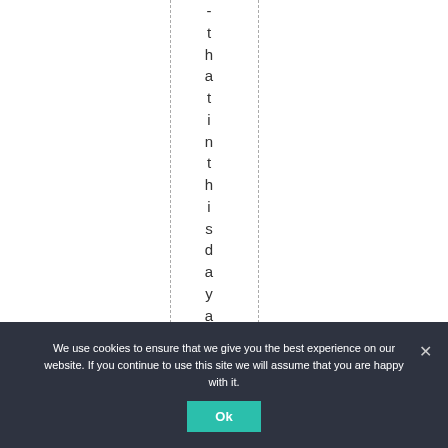thatiinthisdayandag
We use cookies to ensure that we give you the best experience on our website. If you continue to use this site we will assume that you are happy with it. Ok